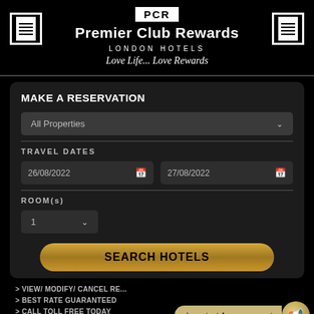[Figure (logo): PCR Premier Club Rewards London Hotels logo with tagline 'Love Life... Love Rewards' on black background with two menu icons]
MAKE A RESERVATION
All Properties
TRAVEL DATES
26/08/2022
27/08/2022
ROOM(s)
1
SEARCH HOTELS
> VIEW/ MODIFY/ CANCEL RE...
> BEST RATE GUARANTEED
> CALL TOLL FREE TODAY
> FREE BREAKFAST
Important Announcement